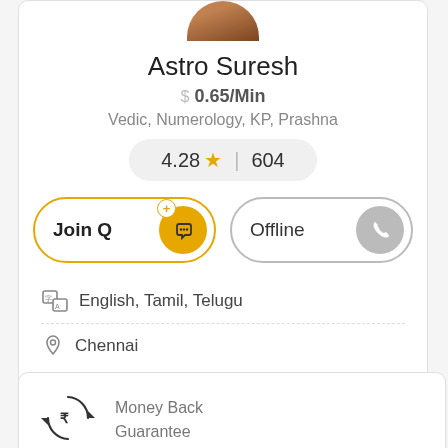[Figure (photo): Partial profile photo of Astro Suresh at top of card]
Astro Suresh
$ 0.65/Min
Vedic, Numerology, KP, Prashna
4.28★ | 604
Join Q
Offline
English, Tamil, Telugu
Chennai
Money Back Guarantee